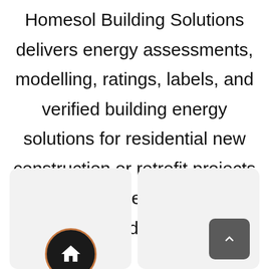Homesol Building Solutions delivers energy assessments, modelling, ratings, labels, and verified building energy solutions for residential new construction or retrofit projects for homeowners and home builders.
[Figure (illustration): Two rounded rectangular cards side by side. Left card has a black circle with a house icon (orange/gold border). Right card has a dark grey rounded square button with an upward chevron arrow.]